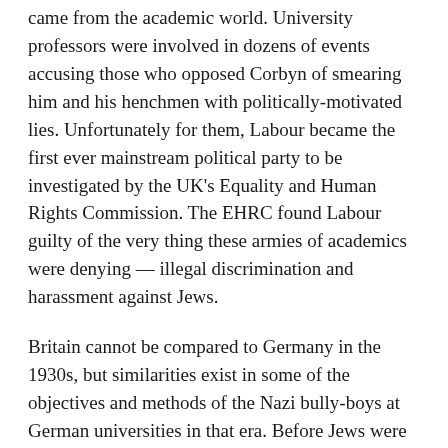came from the academic world. University professors were involved in dozens of events accusing those who opposed Corbyn of smearing him and his henchmen with politically-motivated lies. Unfortunately for them, Labour became the first ever mainstream political party to be investigated by the UK's Equality and Human Rights Commission. The EHRC found Labour guilty of the very thing these armies of academics were denying — illegal discrimination and harassment against Jews.
Britain cannot be compared to Germany in the 1930s, but similarities exist in some of the objectives and methods of the Nazi bully-boys at German universities in that era. Before Jews were finally excluded, members of the National Socialist Students' League often disrupted lectures, provoked altercations and intimidated Jewish students. All of this can be seen in British university campuses today.
Responding to a violent protest by students at King's College